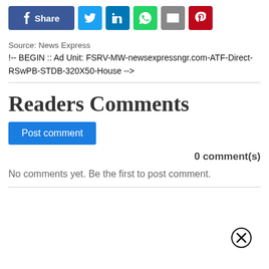[Figure (infographic): Social sharing buttons bar: Facebook Share (blue), Twitter (light blue), LinkedIn (dark blue), WhatsApp (green), Email (grey), Pinterest (red)]
Source: News Express
!-- BEGIN :: Ad Unit: FSRV-MW-newsexpressngr.com-ATF-Direct-RSwPB-STDB-320X50-House -->
Readers Comments
Post comment
0 comment(s)
No comments yet. Be the first to post comment.